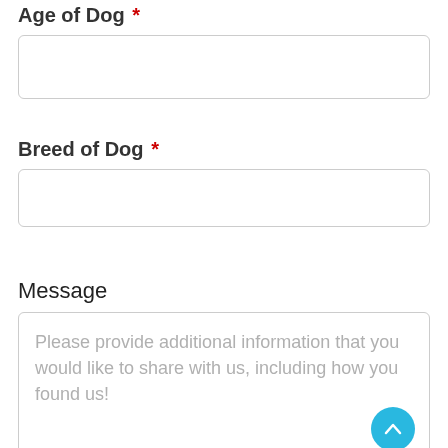Age of Dog *
[Figure (other): Empty input text field for Age of Dog]
Breed of Dog *
[Figure (other): Empty input text field for Breed of Dog]
Message
[Figure (other): Textarea with placeholder: Please provide additional information that you would like to share with us, including how you found us!]
[Figure (other): Scroll-to-top button, cyan circle with upward arrow]